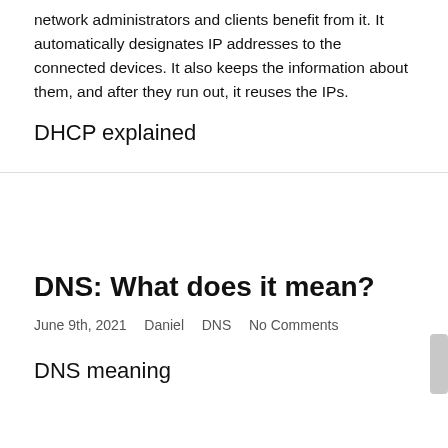network administrators and clients benefit from it. It automatically designates IP addresses to the connected devices. It also keeps the information about them, and after they run out, it reuses the IPs.
DHCP explained
DNS: What does it mean?
June 9th, 2021   Daniel   DNS   No Comments
DNS meaning